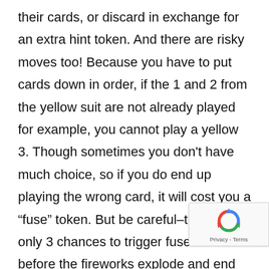their cards, or discard in exchange for an extra hint token. And there are risky moves too! Because you have to put cards down in order, if the 1 and 2 from the yellow suit are not already played for example, you cannot play a yellow 3. Though sometimes you don't have much choice, so if you do end up playing the wrong card, it will cost you a “fuse” token. But be careful–there are only 3 chances to trigger fuse tokens before the fireworks explode and end the game!

Another mistake you could make is when you discard a card that you should’ve probably kept. For instance, there is only one 5 card for each colour, so if you discard a 5, there’s no way to finish that colour! Or you discarded all the 3s of a particular colour, then
[Figure (other): reCAPTCHA badge with recycling arrow icon and 'Privacy - Terms' text]